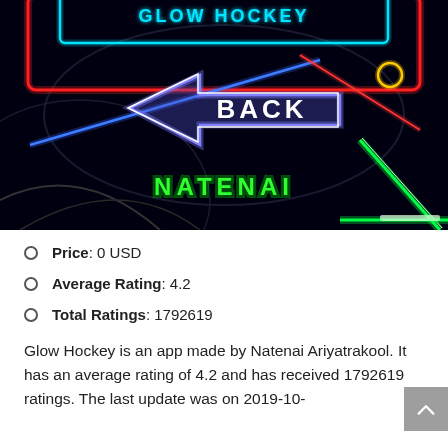[Figure (screenshot): Screenshot of Glow Hockey app gameplay on dark background showing neon glowing elements: a blue arrow pointing left with 'BACK' text, neon red and blue border rectangles at top, a green neon hockey stick/paddle at right, and 'NATENAI' text in green neon at bottom center.]
Price: 0 USD
Average Rating: 4.2
Total Ratings: 1792619
Glow Hockey is an app made by Natenai Ariyatrakool. It has an average rating of 4.2 and has received 1792619 ratings. The last update was on 2019-10-